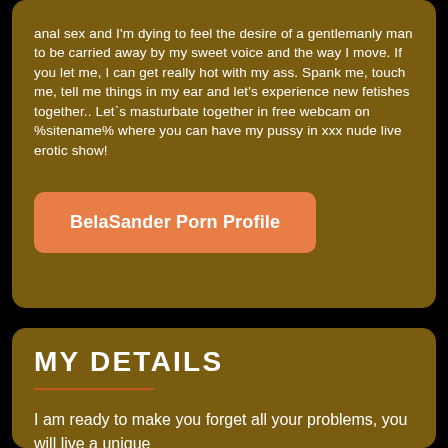anal sex and I'm dying to feel the desire of a gentlemanly man to be carried away by my sweet voice and the way I move. If you let me, I can get really hot with my ass. Spank me, touch me, tell me things in my ear and let's experience new fetishes together.. Let`s masturbate together in free webcam on %sitename% where you can have my pussy in xxx nude live erotic show!
BelaSander Porn Profile
MY DETAILS
I am ready to make you forget all your problems, you will live a unique